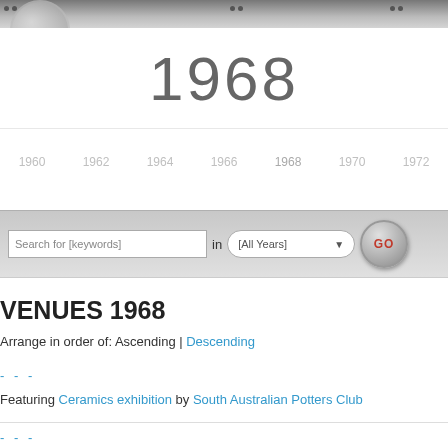[Figure (screenshot): Header banner with metallic/grey texture and dot markers]
1968
[Figure (infographic): Timeline showing years 1960, 1962, 1964, 1966, 1968, 1970, 1972]
[Figure (screenshot): Search bar with keyword input, All Years dropdown, and GO button]
VENUES 1968
Arrange in order of: Ascending | Descending
- - -
Featuring Ceramics exhibition by South Australian Potters Club
- - -